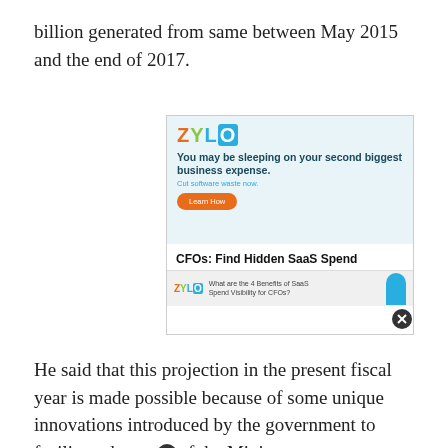billion generated from same between May 2015 and the end of 2017.
[Figure (advertisement): Zylo advertisement: 'You may be sleeping on your second biggest business expense. Cut software waste now. Learn How. CFOs: Find Hidden SaaS Spend. What are the 4 Benefits of SaaS Spend Visibility for CFOs?']
He said that this projection in the present fiscal year is made possible because of some unique innovations introduced by the government to facilitate the work of the Ministry.
At a Ministerial Press Briefing in Asaba, Ossai said that